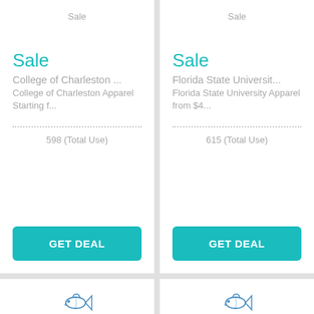Sale
Sale
College of Charleston ...
College of Charleston Apparel Starting f...
598 (Total Use)
GET DEAL
Sale
Sale
Florida State Universit...
Florida State University Apparel from $4...
615 (Total Use)
GET DEAL
[Figure (logo): Fish/cat logo icon, bottom left card]
[Figure (logo): Fish/cat logo icon, bottom right card]